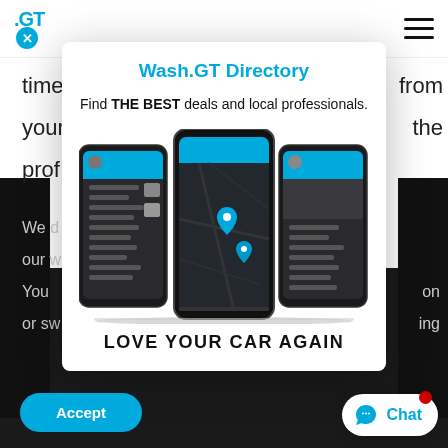[Figure (screenshot): Page header with .GT logo and hamburger menu icon]
time
your
prof
from
the
Wash.GT Directory
Find THE BEST deals and local professionals.
[Figure (screenshot): Three smartphone mockups showing the Wash.GT app interface with map view and menu screens]
LOVE YOUR CAR AGAIN
We d
our w
You
or sw
on
ing
[Figure (other): Accept button (blue pill-shaped) and Chat button with WhatsApp icon]